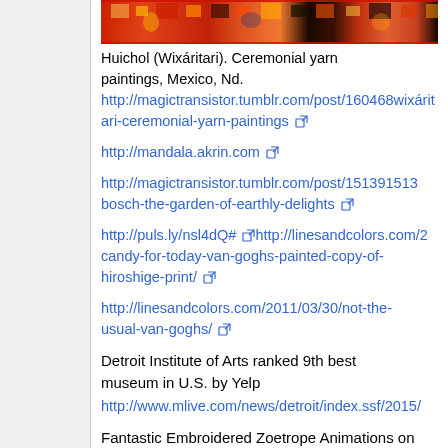[Figure (photo): Cropped top portion of a Huichol (Wixáritari) ceremonial yarn painting from Mexico, showing colorful geometric patterns in red, orange, yellow, black, and dark tones.]
Huichol (Wixáritari). Ceremonial yarn paintings, Mexico, Nd.
http://magictransistor.tumblr.com/post/160468.../wixáritari-ceremonial-yarn-paintings
http://mandala.akrin.com
http://magictransistor.tumblr.com/post/151391513.../bosch-the-garden-of-earthly-delights
http://puls.ly/nsl4dQ# http://linesandcolors.com/2.../candy-for-today-van-goghs-painted-copy-of-hiroshige-print/
http://linesandcolors.com/2011/03/30/not-the-usual-van-goghs/
Detroit Institute of Arts ranked 9th best museum in U.S. by Yelp
http://www.mlive.com/news/detroit/index.ssf/2015/...
Fantastic Embroidered Zoetrope Animations on Turntables by Elliot Schultz
http://www.thisiscolossal.com/2015/07/fantastic-embroidered-zoetrope-animations-on-turntables-by-elliot-schultz/